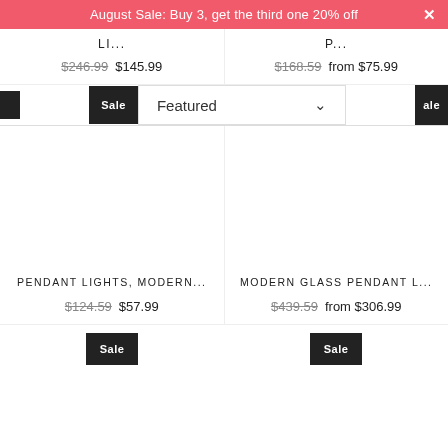August Sale: Buy 3, get the third one 20% off
LI... $246.99 $145.99
P... $168.59 from $75.99
Featured (dropdown)
PENDANT LIGHTS, MODERN... $124.59 $57.99
MODERN GLASS PENDANT L... $439.59 from $306.99